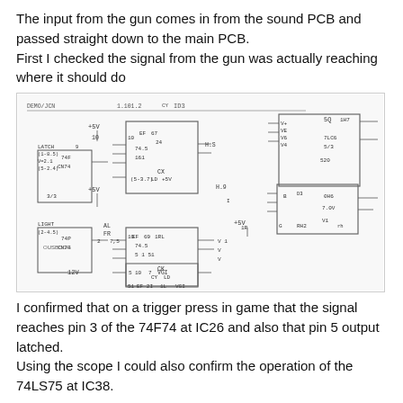The input from the gun comes in from the sound PCB and passed straight down to the main PCB.
First I checked the signal from the gun was actually reaching where it should do
[Figure (schematic): Electronic schematic diagram showing logic ICs including 74F74 at IC26 and 74LS75 at IC38, with labeled pins, latches, lights, power rails (+5V, +5V, 12V), and interconnections between components on a PCB.]
I confirmed that on a trigger press in game that the signal reaches pin 3 of the 74F74 at IC26 and also that pin 5 output latched.
Using the scope I could also confirm the operation of the 74LS75 at IC38.
...